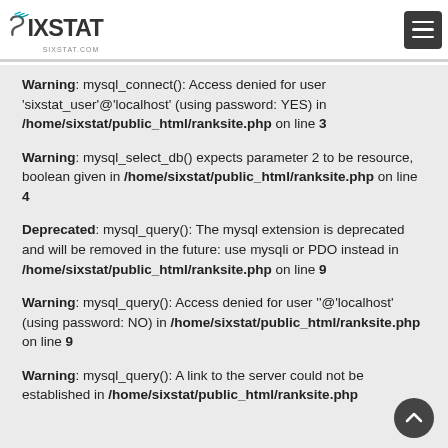SIXSTAT - SIXSTAT.COM
Warning: mysql_connect(): Access denied for user 'sixstat_user'@'localhost' (using password: YES) in /home/sixstat/public_html/ranksite.php on line 3
Warning: mysql_select_db() expects parameter 2 to be resource, boolean given in /home/sixstat/public_html/ranksite.php on line 4
Deprecated: mysql_query(): The mysql extension is deprecated and will be removed in the future: use mysqli or PDO instead in /home/sixstat/public_html/ranksite.php on line 9
Warning: mysql_query(): Access denied for user ''@'localhost' (using password: NO) in /home/sixstat/public_html/ranksite.php on line 9
Warning: mysql_query(): A link to the server could not be established in /home/sixstat/public_html/ranksite.php